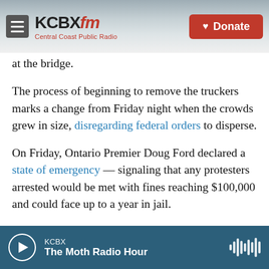KCBX FM — Central Coast Public Radio | Donate
at the bridge.
The process of beginning to remove the truckers marks a change from Friday night when the crowds grew in size, disregarding federal orders to disperse.
On Friday, Ontario Premier Doug Ford declared a state of emergency — signaling that any protesters arrested would be met with fines reaching $100,000 and could face up to a year in jail.
The order prompted Ontario Superior Court Chief Justice Geoffrey Morawetz to intervene, issuing an
KCBX — The Moth Radio Hour